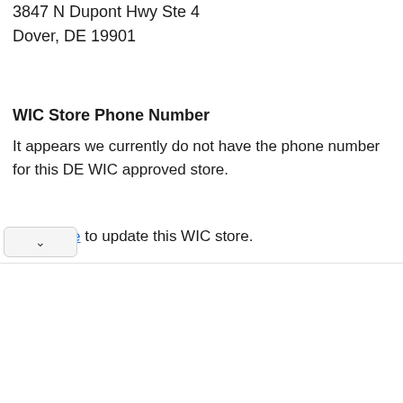3847 N Dupont Hwy Ste 4
Dover, DE 19901
WIC Store Phone Number
It appears we currently do not have the phone number for this DE WIC approved store.
Click here to update this WIC store.